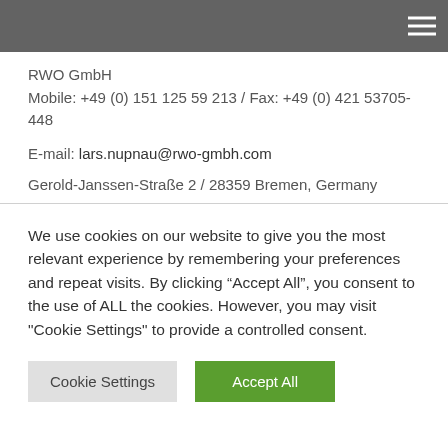RWO GmbH header navigation bar
RWO GmbH
Mobile: +49 (0) 151 125 59 213 / Fax: +49 (0) 421 53705-448
E-mail: lars.nupnau@rwo-gmbh.com
Gerold-Janssen-Straße 2 / 28359 Bremen, Germany
We use cookies on our website to give you the most relevant experience by remembering your preferences and repeat visits. By clicking “Accept All”, you consent to the use of ALL the cookies. However, you may visit "Cookie Settings" to provide a controlled consent.
Cookie Settings
Accept All